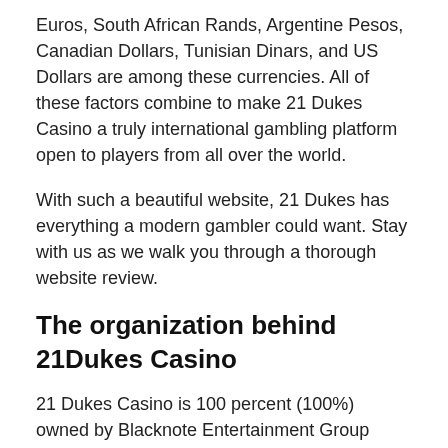Euros, South African Rands, Argentine Pesos, Canadian Dollars, Tunisian Dinars, and US Dollars are among these currencies. All of these factors combine to make 21 Dukes Casino a truly international gambling platform open to players from all over the world.
With such a beautiful website, 21 Dukes has everything a modern gambler could want. Stay with us as we walk you through a thorough website review.
The organization behind 21Dukes Casino
21 Dukes Casino is 100 percent (100%) owned by Blacknote Entertainment Group Limited. This is a Costa Rican company that is in charge of the fair operation of nine online gambling websites, including Thebes Casino, Casino Moons, 21 Dukes Casino, 7 Reels Casino, Mineral Casino and Rich Casino among others.